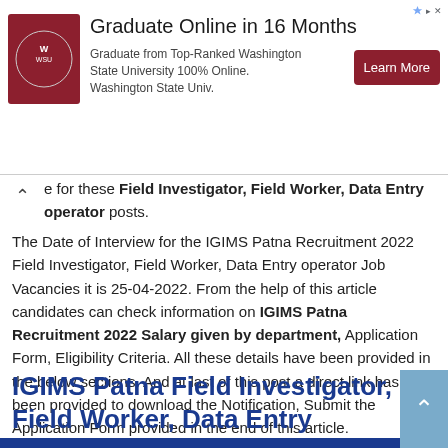[Figure (infographic): Advertisement banner for Washington State University online graduate program showing university logo, title 'Graduate Online in 16 Months', description text, and 'Learn More' button]
e for these Field Investigator, Field Worker, Data Entry operator posts.
The Date of Interview for the IGIMS Patna Recruitment 2022 Field Investigator, Field Worker, Data Entry operator Job Vacancies it is 25-04-2022. From the help of this article candidates can check information on IGIMS Patna Recruitment 2022 Salary given by department, Application Form, Eligibility Criteria. All these details have been provided in the below sections. And at last of this post a direct link has been provided to download the Notification, Submit the Application Form provided in the end of this article.
IGIMS Patna Field Investigator, Field Worker, Data Entry operator Job Opening 2022